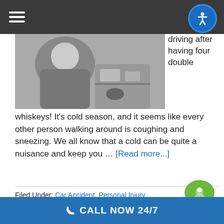Navigation bar with hamburger menu and accessibility button
[Figure (photo): Black and white photo of a person inside a car, apparently driving or seated in the driver seat]
driving after having four double whiskeys! It's cold season, and it seems like every other person walking around is coughing and sneezing. We all know that a cold can be quite a nuisance and keep you … [Read more...]
Filed Under: Car Accident, Personal Injury
Tagged With: Car Accident, Car Accident Lawyer
CALL NOW 24/7